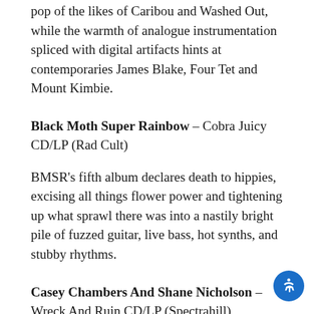pop of the likes of Caribou and Washed Out, while the warmth of analogue instrumentation spliced with digital artifacts hints at contemporaries James Blake, Four Tet and Mount Kimbie.
Black Moth Super Rainbow – Cobra Juicy CD/LP (Rad Cult)
BMSR's fifth album declares death to hippies, excising all things flower power and tightening up what sprawl there was into a nastily bright pile of fuzzed guitar, live bass, hot synths, and stubby rhythms.
Casey Chambers And Shane Nicholson – Wreck And Ruin CD/LP (Spectrahill)